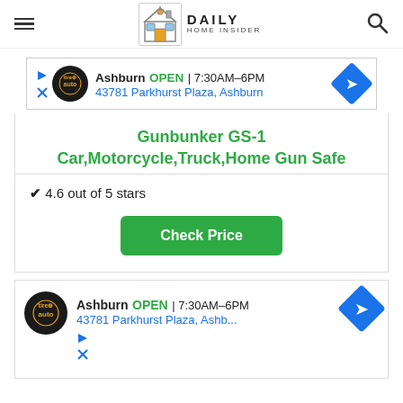Daily Home Insider
[Figure (other): Tire Auto advertisement banner: Ashburn OPEN 7:30AM-6PM, 43781 Parkhurst Plaza, Ashburn]
Gunbunker GS-1 Car,Motorcycle,Truck,Home Gun Safe
✔ 4.6 out of 5 stars
Check Price
[Figure (other): Tire Auto advertisement banner: Ashburn OPEN 7:30AM-6PM, 43781 Parkhurst Plaza, Ashb...]